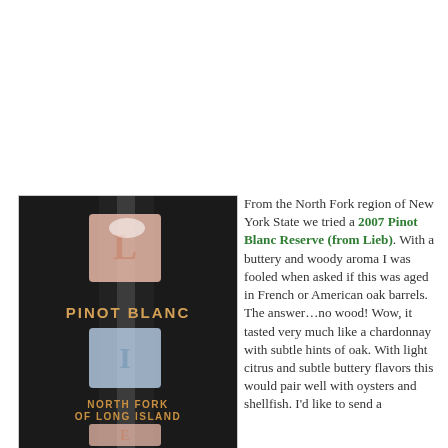[Figure (photo): Wine bottle label showing 'PINOT BLANC' and 'NORTH FORK OF LONG ISLAND' with decorative square tile letters on a dark background]
From the North Fork region of New York State we tried a 2007 Pinot Blanc Reserve (from Lieb). With a buttery and woody aroma I was fooled when asked if this was aged in French or American oak barrels. The answer…no wood! Wow, it tasted very much like a chardonnay with subtle hints of oak. With light citrus and subtle buttery flavors this would pair well with oysters and shellfish. I'd like to send a